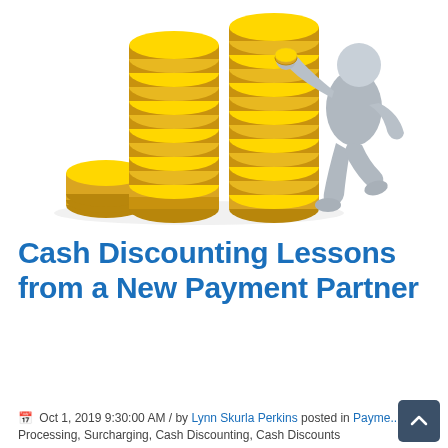[Figure (illustration): 3D illustration of stacks of gold coins of varying heights with a gray 3D humanoid figure leaning against the tallest stack, placing a coin on top.]
Cash Discounting Lessons from a New Payment Partner
Oct 1, 2019 9:30:00 AM / by Lynn Skurla Perkins posted in Payment Processing, Surcharging, Cash Discounting, Cash Discounts